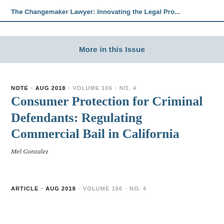The Changemaker Lawyer: Innovating the Legal Pro...
More in this Issue
NOTE · AUG 2018 · VOLUME 106 · NO. 4
Consumer Protection for Criminal Defendants: Regulating Commercial Bail in California
Mel Gonzalez
ARTICLE · AUG 2018 · VOLUME 106 · NO. 4